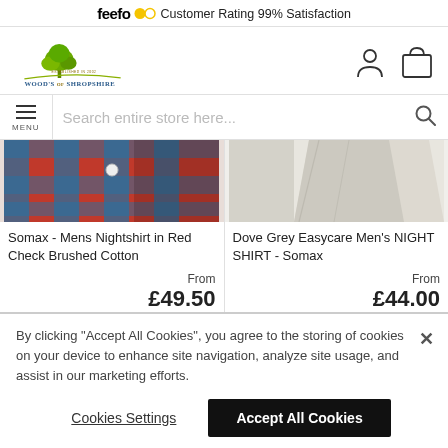feefo Customer Rating 99% Satisfaction
[Figure (logo): Wood's of Shropshire logo with green tree and curved line, established 2002]
[Figure (screenshot): Menu/hamburger icon and MENU label, search bar with placeholder 'Search entire store here...' and search magnifier icon]
[Figure (photo): Product image: red check brushed cotton nightshirt folded]
Somax - Mens Nightshirt in Red Check Brushed Cotton
From
£49.50
[Figure (photo): Product image: dove grey men's nightshirt folded]
Dove Grey Easycare Men's NIGHT SHIRT - Somax
From
£44.00
By clicking "Accept All Cookies", you agree to the storing of cookies on your device to enhance site navigation, analyze site usage, and assist in our marketing efforts.
Cookies Settings
Accept All Cookies